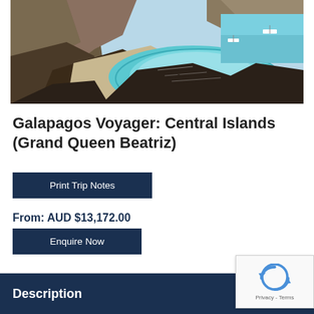[Figure (photo): Aerial/coastal view of Galapagos Islands showing rocky volcanic coastline with turquoise lagoon and boats in the water]
Galapagos Voyager: Central Islands (Grand Queen Beatriz)
Print Trip Notes
From: AUD $13,172.00
Enquire Now
Description